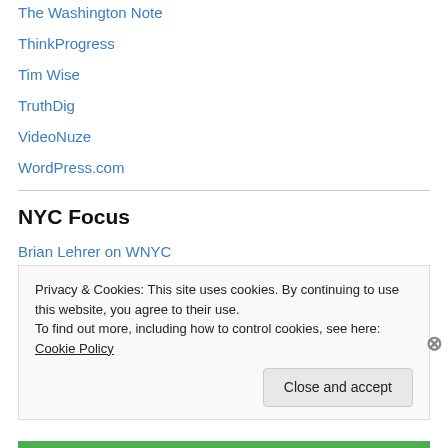The Washington Note
ThinkProgress
Tim Wise
TruthDig
VideoNuze
WordPress.com
NYC Focus
Brian Lehrer on WNYC
Brooklyn Vegan
CUNY Graduate School of Journalism
Privacy & Cookies: This site uses cookies. By continuing to use this website, you agree to their use.
To find out more, including how to control cookies, see here: Cookie Policy